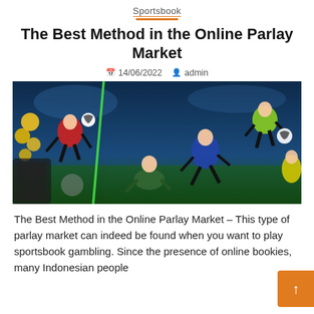Sportsbook
The Best Method in the Online Parlay Market
14/06/2022  admin
[Figure (photo): Composite sports betting promotional image showing multiple soccer players in action poses against a blue stadium background with gold coins, goalkeeper, and players kicking footballs]
The Best Method in the Online Parlay Market – This type of parlay market can indeed be found when you want to play sportsbook gambling. Since the presence of online bookies, many Indonesian people